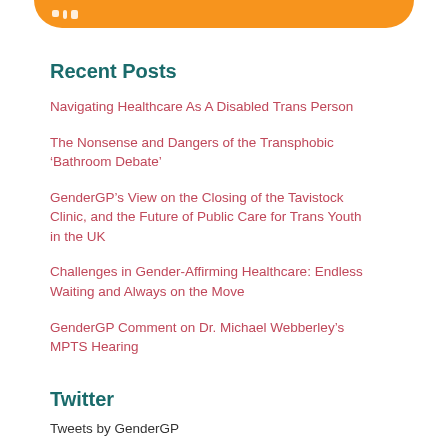[Figure (other): Orange rounded bar at top with white dot/bar icon]
Recent Posts
Navigating Healthcare As A Disabled Trans Person
The Nonsense and Dangers of the Transphobic ‘Bathroom Debate’
GenderGP’s View on the Closing of the Tavistock Clinic, and the Future of Public Care for Trans Youth in the UK
Challenges in Gender-Affirming Healthcare: Endless Waiting and Always on the Move
GenderGP Comment on Dr. Michael Webberley’s MPTS Hearing
Twitter
Tweets by GenderGP